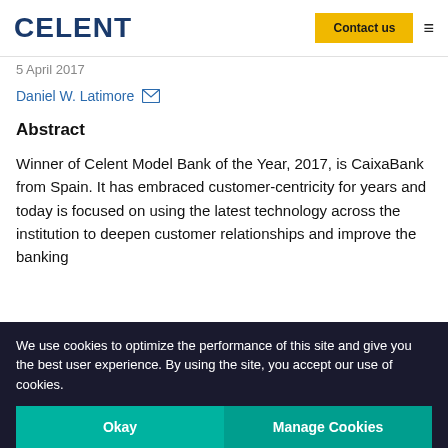CELENT | Contact us
5 April 2017
Daniel W. Latimore
Abstract
Winner of Celent Model Bank of the Year, 2017, is CaixaBank from Spain. It has embraced customer-centricity for years and today is focused on using the latest technology across the institution to deepen customer relationships and improve the banking
We use cookies to optimize the performance of this site and give you the best user experience. By using the site, you accept our use of cookies.
Okay | Manage Cookies